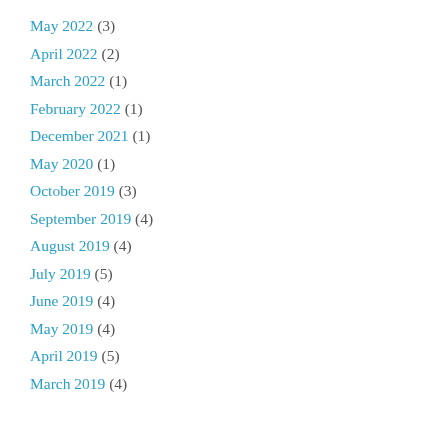May 2022 (3)
April 2022 (2)
March 2022 (1)
February 2022 (1)
December 2021 (1)
May 2020 (1)
October 2019 (3)
September 2019 (4)
August 2019 (4)
July 2019 (5)
June 2019 (4)
May 2019 (4)
April 2019 (5)
March 2019 (4)